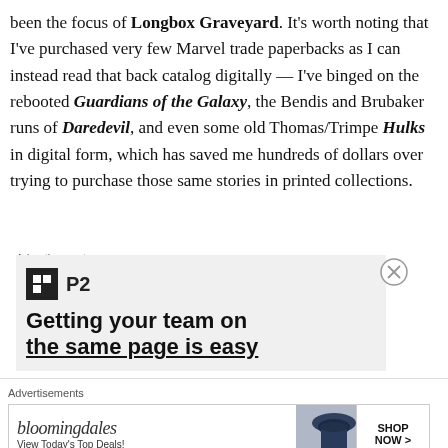been the focus of Longbox Graveyard. It's worth noting that I've purchased very few Marvel trade paperbacks as I can instead read that back catalog digitally — I've binged on the rebooted Guardians of the Galaxy, the Bendis and Brubaker runs of Daredevil, and even some old Thomas/Trimpe Hulks in digital form, which has saved me hundreds of dollars over trying to purchase those same stories in printed collections.
Advertisements
[Figure (other): Advertisement for P2 — 'Getting your team on the same page is easy']
Advertisements
[Figure (other): Bloomingdales advertisement — View Today's Top Deals! SHOP NOW >]